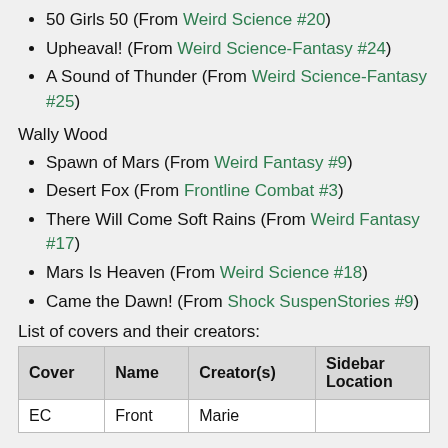50 Girls 50 (From Weird Science #20)
Upheaval! (From Weird Science-Fantasy #24)
A Sound of Thunder (From Weird Science-Fantasy #25)
Wally Wood
Spawn of Mars (From Weird Fantasy #9)
Desert Fox (From Frontline Combat #3)
There Will Come Soft Rains (From Weird Fantasy #17)
Mars Is Heaven (From Weird Science #18)
Came the Dawn! (From Shock SuspenStories #9)
List of covers and their creators:
| Cover | Name | Creator(s) | Sidebar Location |
| --- | --- | --- | --- |
| EC | Front | Marie |  |